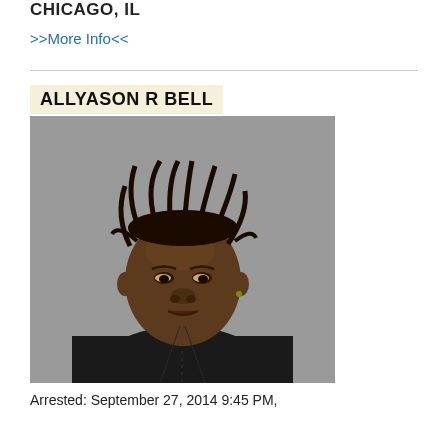CHICAGO, IL
>>More Info<<
ALLYASON R BELL
[Figure (photo): Mugshot of Allyason R Bell, a Black woman wearing a black button-up shirt over a white undershirt, with short dreadlocks, against a gray background.]
Arrested: September 27, 2014 9:45 PM,